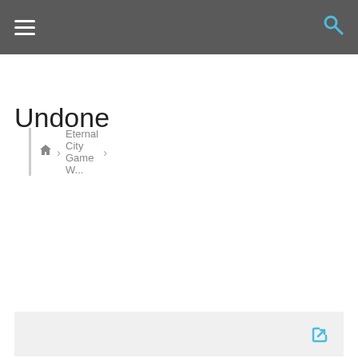Navigation bar with hamburger menu and search icon
Eternal City Game W...
Undone
Page 1 / 2  1  Next
Last Post  RSS
Syden (@syden) Active Member